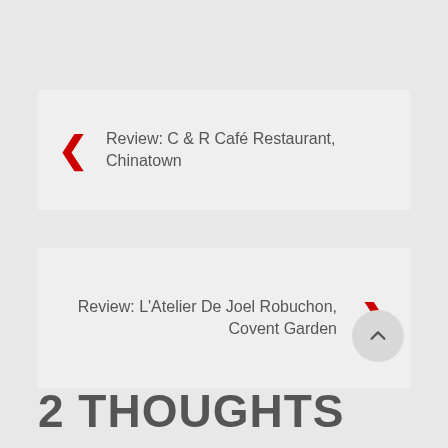Review: C & R Café Restaurant, Chinatown
Review: L'Atelier De Joel Robuchon, Covent Garden
2 THOUGHTS